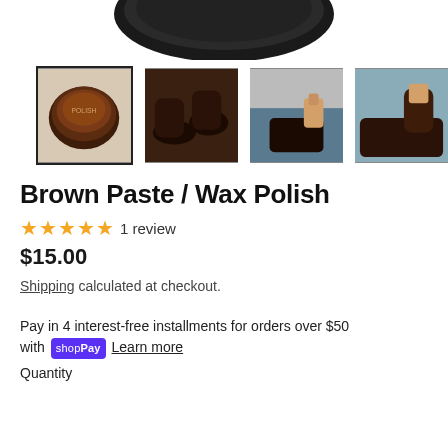[Figure (photo): Top portion of a black tin of shoe polish, cropped at the top]
[Figure (photo): Four product thumbnail images: 1) selected: brown wax polish tin, 2) polished brown leather shoes, 3) person polishing shoes, 4) person applying polish to shoe]
Brown Paste / Wax Polish
★★★★★ 1 review
$15.00
Shipping calculated at checkout.
Pay in 4 interest-free installments for orders over $50 with Shop Pay Learn more
Quantity